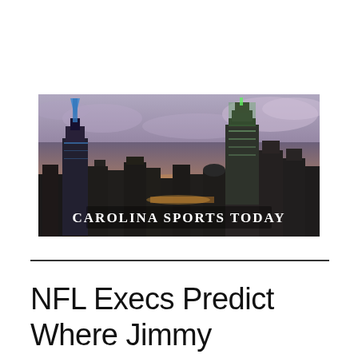[Figure (photo): Banner image showing Charlotte NC city skyline at dusk/sunset with text 'Carolina Sports Today' overlaid in bold white serif font]
NFL Execs Predict Where Jimmy